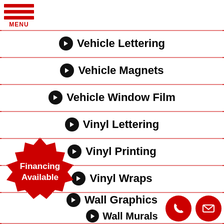[Figure (logo): Red hamburger menu icon with three horizontal red bars and MENU label below]
Vehicle Lettering
Vehicle Magnets
Vehicle Window Film
Vinyl Lettering
Vinyl Printing
Vinyl Wraps
Wall Graphics
Wall Murals
[Figure (illustration): Red starburst badge with white text 'Financing Available']
[Figure (illustration): Red circle phone icon and red circle email/envelope icon]